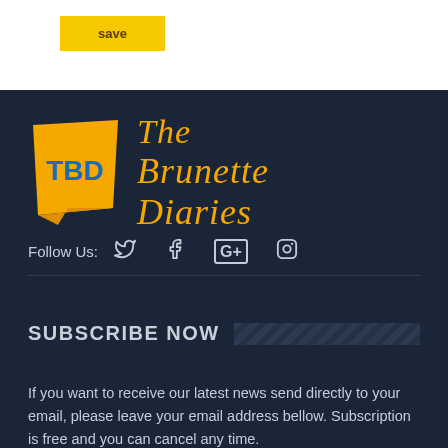[Figure (logo): Save button - yellow/gold rectangular button with bold text 'save']
[Figure (logo): The Brunette Diaries logo: orange/gold trapezoid speech bubble with 'TBD' in blue, next to handwritten-style orange text 'The Brunette Diaries']
Follow Us:
SUBSCRIBE NOW
If you want to receive our latest news send directly to your email, please leave your email address bellow. Subscription is free and you can cancel any time.